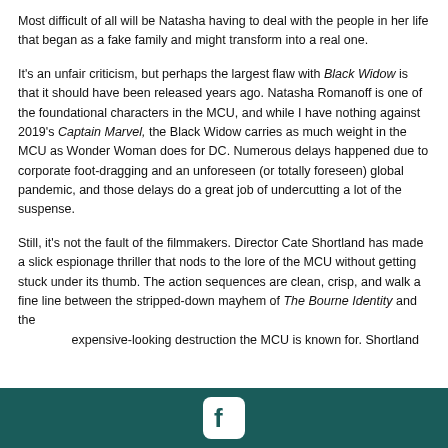Most difficult of all will be Natasha having to deal with the people in her life that began as a fake family and might transform into a real one.
It's an unfair criticism, but perhaps the largest flaw with Black Widow is that it should have been released years ago. Natasha Romanoff is one of the foundational characters in the MCU, and while I have nothing against 2019's Captain Marvel, the Black Widow carries as much weight in the MCU as Wonder Woman does for DC. Numerous delays happened due to corporate foot-dragging and an unforeseen (or totally foreseen) global pandemic, and those delays do a great job of undercutting a lot of the suspense.
Still, it's not the fault of the filmmakers. Director Cate Shortland has made a slick espionage thriller that nods to the lore of the MCU without getting stuck under its thumb. The action sequences are clean, crisp, and walk a fine line between the stripped-down mayhem of The Bourne Identity and the expensive-looking destruction the MCU is known for. Shortland
Facebook icon